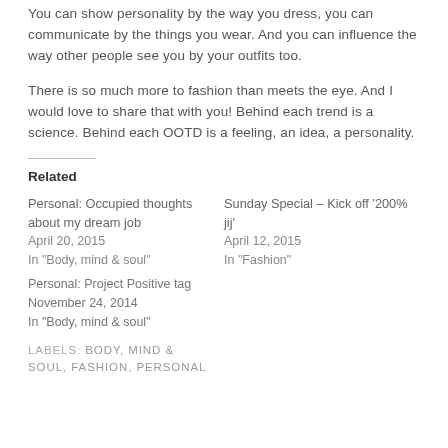You can show personality by the way you dress, you can communicate by the things you wear. And you can influence the way other people see you by your outfits too.
There is so much more to fashion than meets the eye. And I would love to share that with you! Behind each trend is a science. Behind each OOTD is a feeling, an idea, a personality.
Related
Personal: Occupied thoughts about my dream job
April 20, 2015
In "Body, mind & soul"
Sunday Special – Kick off '200% jij'
April 12, 2015
In "Fashion"
Personal: Project Positive tag
November 24, 2014
In "Body, mind & soul"
LABELS: BODY, MIND & SOUL, FASHION, PERSONAL